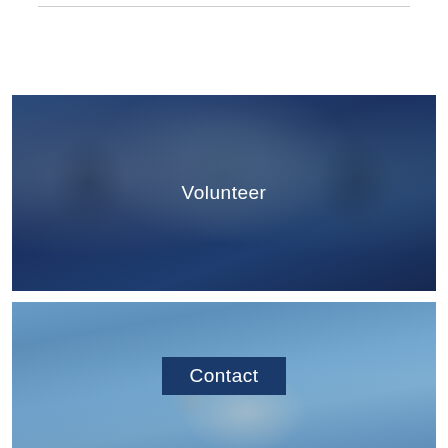[Figure (photo): Three young women making peace signs, smiling, with a dark blue color overlay. A 'Volunteer' label appears centered over the image.]
[Figure (photo): An open metal mailbox with a raised red flag against a blue sky background. A 'Contact' label appears centered over the image in a dark navy box.]